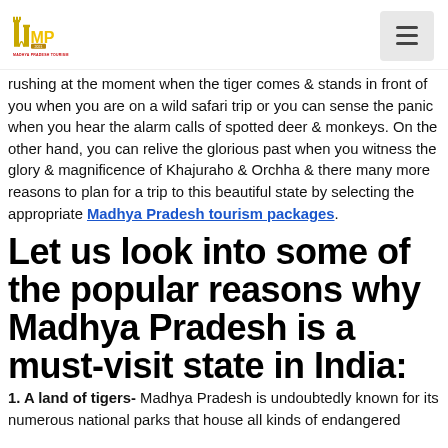Madhya Pradesh Tourism logo and navigation menu
rushing at the moment when the tiger comes & stands in front of you when you are on a wild safari trip or you can sense the panic when you hear the alarm calls of spotted deer & monkeys. On the other hand, you can relive the glorious past when you witness the glory & magnificence of Khajuraho & Orchha & there many more reasons to plan for a trip to this beautiful state by selecting the appropriate Madhya Pradesh tourism packages.
Let us look into some of the popular reasons why Madhya Pradesh is a must-visit state in India:
1. A land of tigers- Madhya Pradesh is undoubtedly known for its numerous national parks that house all kinds of endangered